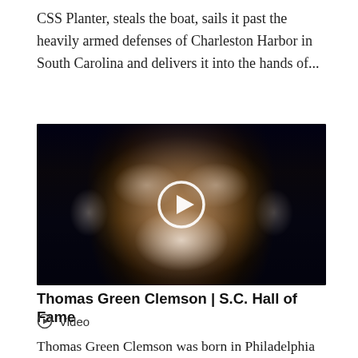CSS Planter, steals the boat, sails it past the heavily armed defenses of Charleston Harbor in South Carolina and delivers it into the hands of...
[Figure (photo): Video thumbnail showing a close-up portrait of an elderly white-haired bearded man (Thomas Green Clemson), with a circular white play button overlay indicating a video.]
Thomas Green Clemson | S.C. Hall of Fame
Video
Thomas Green Clemson was born in Philadelphia in 1807. In 1838 he married Anna Maria Calhoun, daughter of South Carolina Senator John C. Calhoun. Clemson...